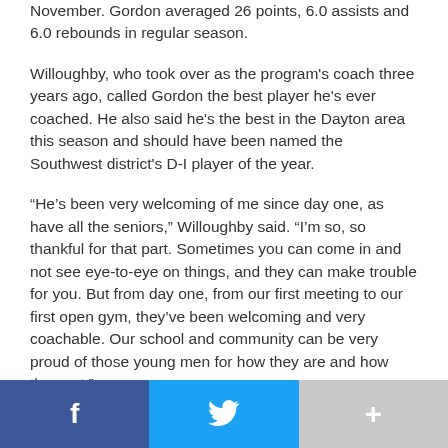November. Gordon averaged 26 points, 6.0 assists and 6.0 rebounds in regular season.
Willoughby, who took over as the program's coach three years ago, called Gordon the best player he's ever coached. He also said he's the best in the Dayton area this season and should have been named the Southwest district's D-I player of the year.
“He’s been very welcoming of me since day one, as have all the seniors,” Willoughby said. “I’m so, so thankful for that part. Sometimes you can come in and not see eye-to-eye on things, and they can make trouble for you. But from day one, from our first meeting to our first open gym, they’ve been welcoming and very coachable. Our school and community can be very proud of those young men for how they are and how they act.”
Roberts and Hudgins are multiple-year starters, and senior guard Keith James and James Cooper also multiple-year varsity
f    🐦    +